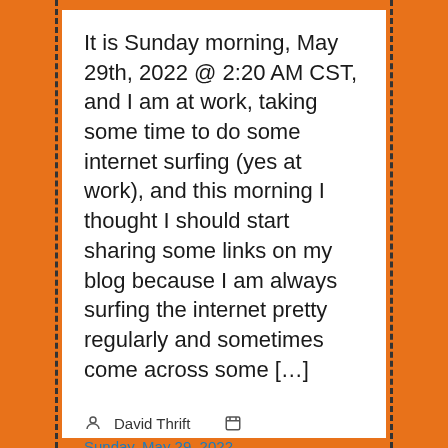It is Sunday morning, May 29th, 2022 @ 2:20 AM CST, and I am at work, taking some time to do some internet surfing (yes at work), and this morning I thought I should start sharing some links on my blog because I am always surfing the internet pretty regularly and sometimes come across some […]
David Thrift   Sunday, May 29, 2022
Surf Sessions
Alabama, Army, Georgia, History, Lakes, Navy, West Point Lake